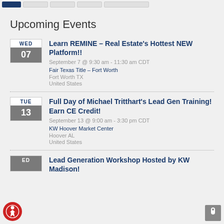Navigation bar with buttons
Upcoming Events
Learn REMINE – Real Estate's Hottest NEW Platform!! | September 7 @ 9:30 am - 11:30 am CDT | Fair Texas Title – Fort Worth | Fort Worth TX | United States
Full Day of Michael Tritthart's Lead Gen Training! Earn CE Credit! | September 13 @ 9:00 am - 3:30 pm CDT | KW Hoover Market Center | Hoover AL | United States
Lead Generation Workshop Hosted by KW Madison!